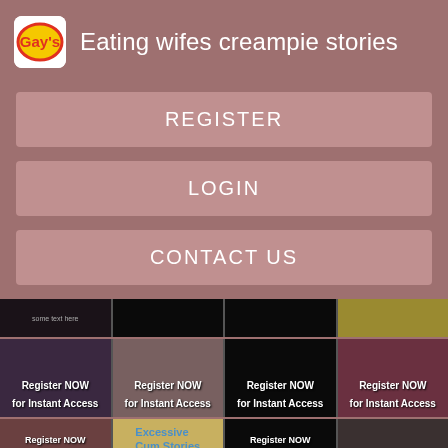[Figure (logo): Gay's brand logo - circular yellow/red badge]
Eating wifes creampie stories
REGISTER
LOGIN
CONTACT US
[Figure (screenshot): Grid of thumbnail images with 'Register NOW for Instant Access' overlays and one 'Excessive Cum Stories' link]